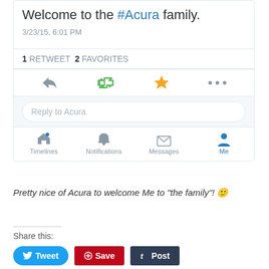Welcome to the #Acura family. 3/23/15, 6:01 PM
1 RETWEET  2 FAVORITES
[Figure (screenshot): Twitter action icons: reply, retweet, star/favorite, more (...)]
Reply to Acura
[Figure (screenshot): Twitter bottom navigation: Timelines, Notifications, Messages, Me]
Pretty nice of Acura to welcome Me to "the family"! 🙂
Share this:
Tweet  Save  Post